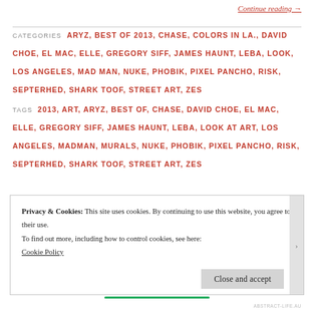Continue reading →
CATEGORIES  ARYZ, BEST OF 2013, CHASE, COLORS IN LA., DAVID CHOE, EL MAC, ELLE, GREGORY SIFF, JAMES HAUNT, LEBA, LOOK, LOS ANGELES, MAD MAN, NUKE, PHOBIK, PIXEL PANCHO, RISK, SEPTERHED, SHARK TOOF, STREET ART, ZES
TAGS  2013, ART, ARYZ, BEST OF, CHASE, DAVID CHOE, EL MAC, ELLE, GREGORY SIFF, JAMES HAUNT, LEBA, LOOK AT ART, LOS ANGELES, MADMAN, MURALS, NUKE, PHOBIK, PIXEL PANCHO, RISK, SEPTERHED, SHARK TOOF, STREET ART, ZES
Privacy & Cookies: This site uses cookies. By continuing to use this website, you agree to their use.
To find out more, including how to control cookies, see here:
Cookie Policy
Close and accept